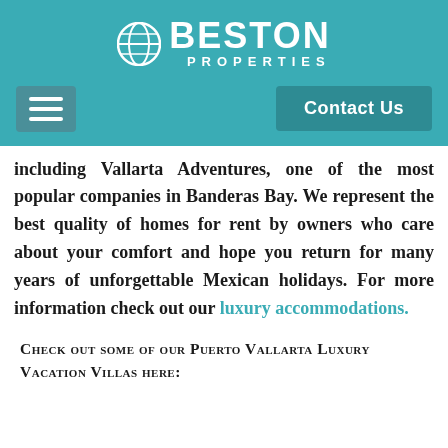[Figure (logo): Beston Properties logo with circular globe icon, white text on teal background]
[Figure (screenshot): Navigation bar with hamburger menu button and Contact Us button on teal background]
including Vallarta Adventures, one of the most popular companies in Banderas Bay. We represent the best quality of homes for rent by owners who care about your comfort and hope you return for many years of unforgettable Mexican holidays. For more information check out our luxury accommodations.
Check out some of our Puerto Vallarta Luxury Vacation Villas here: